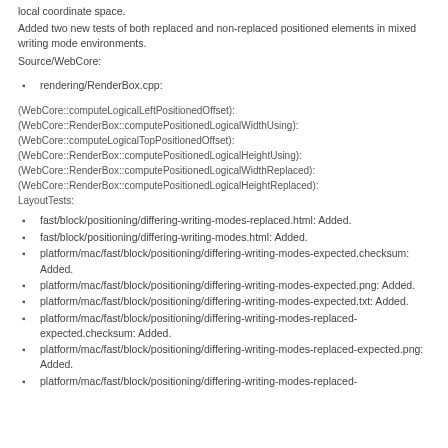local coordinate space.
Added two new tests of both replaced and non-replaced positioned elements in mixed writing mode environments.
Source/WebCore:
rendering/RenderBox.cpp:
(WebCore::computeLogicalLeftPositionedOffset):
(WebCore::RenderBox::computePositionedLogicalWidthUsing):
(WebCore::computeLogicalTopPositionedOffset):
(WebCore::RenderBox::computePositionedLogicalHeightUsing):
(WebCore::RenderBox::computePositionedLogicalWidthReplaced):
(WebCore::RenderBox::computePositionedLogicalHeightReplaced):
LayoutTests:
fast/block/positioning/differing-writing-modes-replaced.html: Added.
fast/block/positioning/differing-writing-modes.html: Added.
platform/mac/fast/block/positioning/differing-writing-modes-expected.checksum: Added.
platform/mac/fast/block/positioning/differing-writing-modes-expected.png: Added.
platform/mac/fast/block/positioning/differing-writing-modes-expected.txt: Added.
platform/mac/fast/block/positioning/differing-writing-modes-replaced-expected.checksum: Added.
platform/mac/fast/block/positioning/differing-writing-modes-replaced-expected.png: Added.
platform/mac/fast/block/positioning/differing-writing-modes-replaced-